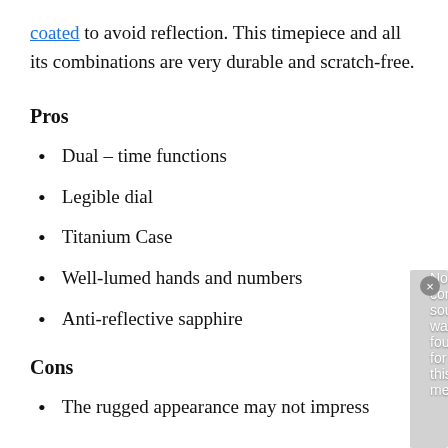coated to avoid reflection. This timepiece and all its combinations are very durable and scratch-free.
Pros
Dual – time functions
Legible dial
Titanium Case
Well-lumed hands and numbers
Anti-reflective sapphire
Cons
The rugged appearance may not impress
[Figure (screenshot): Video player overlay showing 'No compatible source was found for this media.' message over a watch image background]